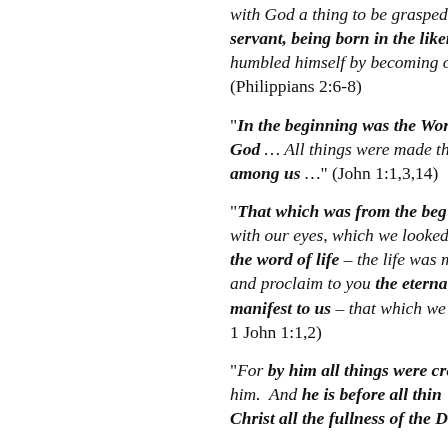with God a thing to be grasped, servant, being born in the likeness… humbled himself by becoming ob… (Philippians 2:6-8)
"In the beginning was the Word … and the Word was with God … All things were made through him … and the Word became flesh and dwelt among us …" (John 1:1,3,14)
"That which was from the beginning … which we have seen with our eyes, which we looked at … concerning the word of life – the life was manifested, and we have seen it, and testify to it and proclaim to you the eternal life, which was with the Father and was manifest to us – that which we have seen and heard … 1 John 1:1,2)
"For by him all things were created … all things were created through him and for him. And he is before all things … For in him all the fullness of the Deity dwells bodily … in Christ all the fullness of the Deity…
He changed his form, not His person; nor is He half God and half man. He is fully both, even if we cannot understand it!
ANSWER FROM ISLAM: Ta…
Qur'an: In the early days of Isla…